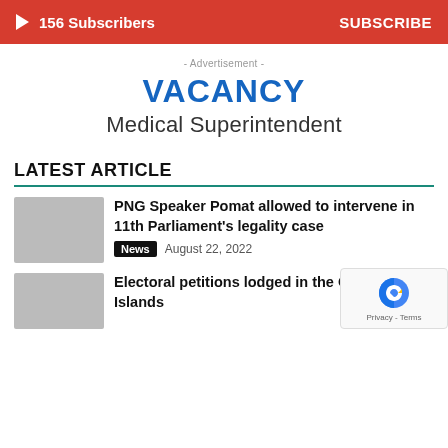156 Subscribers  SUBSCRIBE
- Advertisement -
VACANCY
Medical Superintendent
LATEST ARTICLE
PNG Speaker Pomat allowed to intervene in 11th Parliament's legality case
News  August 22, 2022
Electoral petitions lodged in the Co Islands